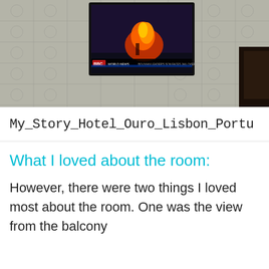[Figure (photo): Hotel room photo showing a flat-screen TV mounted on a decorative tiled wall tuned to BBC News showing flames/fire imagery, with dark wooden furniture visible at the right edge.]
My_Story_Hotel_Ouro_Lisbon_Portu
What I loved about the room:
However, there were two things I loved most about the room. One was the view from the balcony